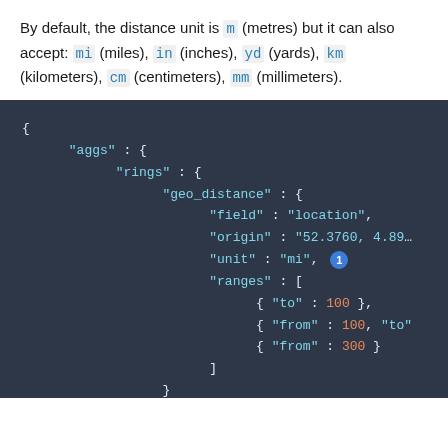By default, the distance unit is m (metres) but it can also accept: mi (miles), in (inches), yd (yards), km (kilometers), cm (centimeters), mm (millimeters).
[Figure (screenshot): Dark-themed JSON code block showing a geo_distance aggregation with aggs, rings, geo_distance fields including field: location, origin: 52.3760 4.89..., unit: mi (with callout annotation 1), and ranges array with to:100, from:100 to:..., from:300]